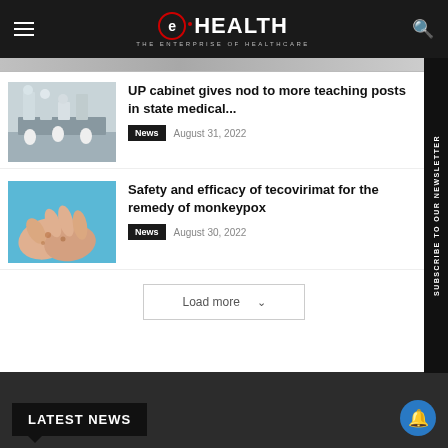eHEALTH — THE ENTERPRISE OF HEALTHCARE
[Figure (photo): Partial view of a photo at top of page]
[Figure (photo): Students or doctors in a laboratory/classroom setting]
UP cabinet gives nod to more teaching posts in state medical...
News  August 31, 2022
[Figure (photo): Hands showing monkeypox symptoms on blue background]
Safety and efficacy of tecovirimat for the remedy of monkeypox
News  August 30, 2022
Load more
LATEST NEWS